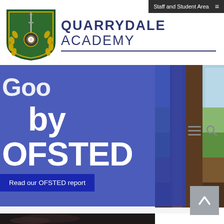Staff and Student Area ≡
QUARRYDALE ACADEMY
[Figure (logo): Quarrydale Academy shield crest logo — green shield with gold laurel wreath, white rose, and gear/cog, topped with a sword]
[Figure (photo): Outdoor photo showing a large tree trunk in the foreground with a green field and rural landscape in the background]
Good by OFSTED
Read our OFSTED report
[Figure (photo): Partial photo of a student at the bottom of the page]